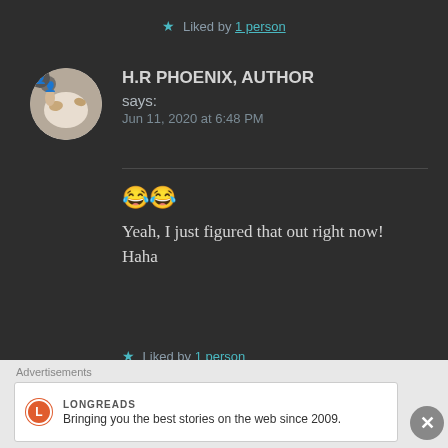★ Liked by 1 person
H.R PHOENIX, AUTHOR says:
Jun 11, 2020 at 6:48 PM
😂😂
Yeah, I just figured that out right now!
Haha
★ Liked by 1 person
Advertisements
LONGREADS
Bringing you the best stories on the web since 2009.